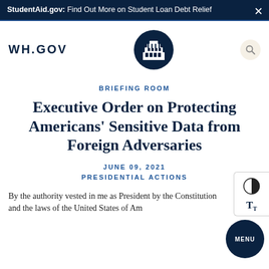StudentAid.gov: Find Out More on Student Loan Debt Relief
[Figure (logo): WH.GOV text logo, White House oval emblem, and search icon navigation bar]
BRIEFING ROOM
Executive Order on Protecting Americans' Sensitive Data from Foreign Adversaries
JUNE 09, 2021
PRESIDENTIAL ACTIONS
By the authority vested in me as President by the Constitution and the laws of the United States of America,